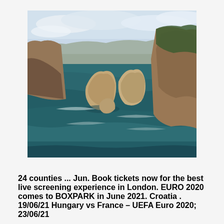[Figure (photo): Aerial coastal landscape photograph showing dramatic sea cliffs and rock formations rising from dark teal ocean water, with vegetation on the cliff tops and cloudy sky above.]
24 counties ... Jun. Book tickets now for the best live screening experience in London. EURO 2020 comes to BOXPARK in June 2021. Croatia . 19/06/21 Hungary vs France – UEFA Euro 2020; 23/06/21